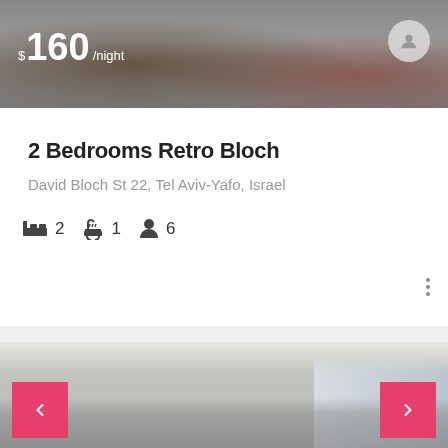[Figure (photo): Interior room photo with price overlay showing $160/night and a user profile avatar button in top right]
2 Bedrooms Retro Bloch
David Bloch St 22, Tel Aviv-Yafo, Israel
2 bedrooms, 1 bathroom, 6 guests
[Figure (photo): Modern apartment interior with high ceilings, large windows, gray sofa, and navigation arrows (left and right) in red/pink]